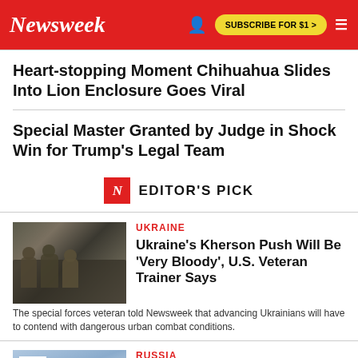Newsweek | SUBSCRIBE FOR $1 >
Heart-stopping Moment Chihuahua Slides Into Lion Enclosure Goes Viral
Special Master Granted by Judge in Shock Win for Trump's Legal Team
EDITOR'S PICK
UKRAINE
Ukraine's Kherson Push Will Be 'Very Bloody', U.S. Veteran Trainer Says
The special forces veteran told Newsweek that advancing Ukrainians will have to contend with dangerous urban combat conditions.
RUSSIA
Explosion at Russian Embassy, Two Diplomats Reportedly Killed